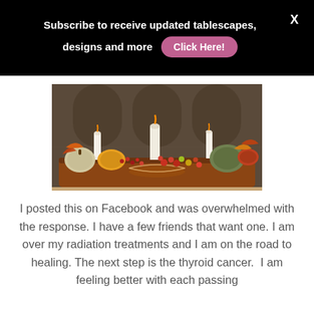Subscribe to receive updated tablescapes, designs and more  Click Here!
[Figure (photo): A decorative wooden tray centerpiece filled with autumn harvest items: pumpkins, gourds, candles, fall leaves, berries, and fruit arranged on a table with ornate wallpaper in the background.]
I posted this on Facebook and was overwhelmed with the response. I have a few friends that want one. I am over my radiation treatments and I am on the road to healing. The next step is the thyroid cancer.  I am feeling better with each passing